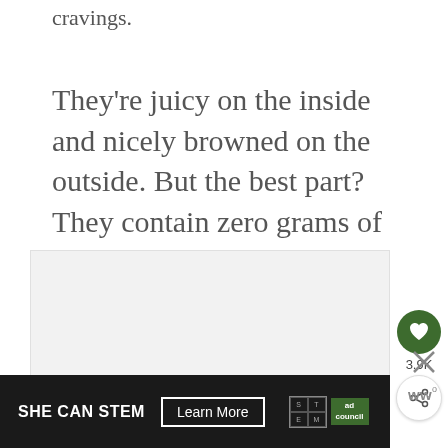cravings.
They’re juicy on the inside and nicely browned on the outside. But the best part? They contain zero grams of net carbs per serving!
[Figure (photo): Gray placeholder image area for food photo]
[Figure (infographic): Social sharing panel with heart/like button showing 3.9K count and share button]
[Figure (infographic): Ad banner: SHE CAN STEM with Learn More button, STEM grid logo, Ad Council logo, and close X button]